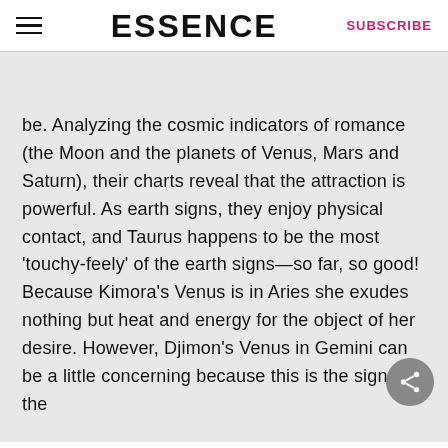ESSENCE | SUBSCRIBE
be. Analyzing the cosmic indicators of romance (the Moon and the planets of Venus, Mars and Saturn), their charts reveal that the attraction is powerful. As earth signs, they enjoy physical contact, and Taurus happens to be the most 'touchy-feely' of the earth signs—so far, so good! Because Kimora's Venus is in Aries she exudes nothing but heat and energy for the object of her desire. However, Djimon's Venus in Gemini can be a little concerning because this is the sign of the